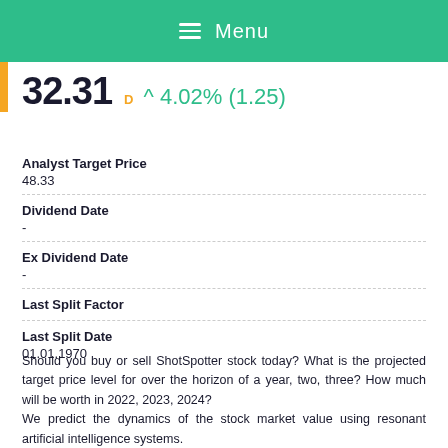≡ Menu
32.31 D ^ 4.02% (1.25)
Analyst Target Price
48.33
Dividend Date
-
Ex Dividend Date
-
Last Split Factor
Last Split Date
01.01.1970
Should you buy or sell ShotSpotter stock today? What is the projected target price level for over the horizon of a year, two, three? How much will be worth in 2022, 2023, 2024?
We predict the dynamics of the stock market value using resonant artificial intelligence systems.